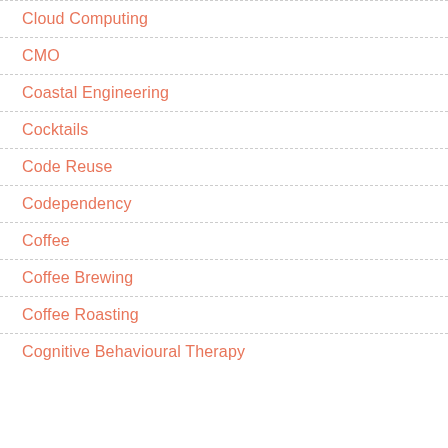Cloud Computing
CMO
Coastal Engineering
Cocktails
Code Reuse
Codependency
Coffee
Coffee Brewing
Coffee Roasting
Cognitive Behavioural Therapy